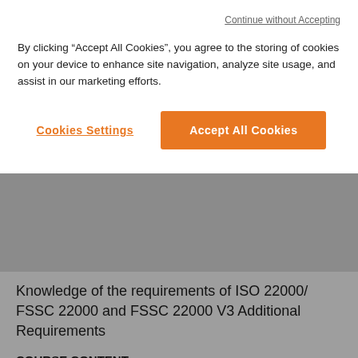SGS
Continue without Accepting
By clicking “Accept All Cookies”, you agree to the storing of cookies on your device to enhance site navigation, analyze site usage, and assist in our marketing efforts.
Cookies Settings
Accept All Cookies
Knowledge of the requirements of ISO 22000/ FSSC 22000 and FSSC 22000 V3 Additional Requirements
COURSE CONTENT
Introduction to FSSC 22000 scheme and standards
- Overview of the standard including Additional